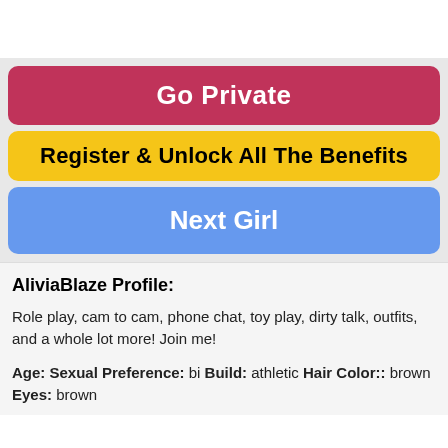[Figure (other): White space at the top of the page, likely a video/image area placeholder]
Go Private
Register & Unlock All The Benefits
Next Girl
AliviaBlaze Profile:
Role play, cam to cam, phone chat, toy play, dirty talk, outfits, and a whole lot more! Join me!
Age: Sexual Preference: bi Build: athletic Hair Color:: brown Eyes: brown